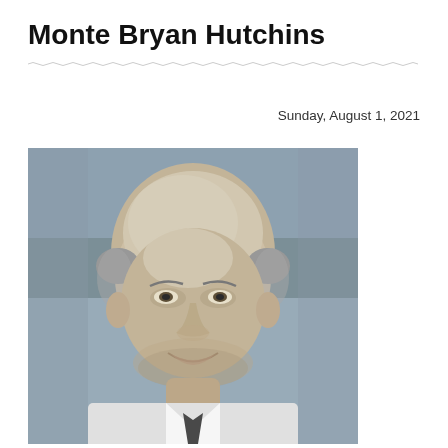Monte Bryan Hutchins
Sunday, August 1, 2021
[Figure (photo): Black and white portrait photograph of Monte Bryan Hutchins, a middle-aged bald man wearing a dress shirt and tie, smiling.]